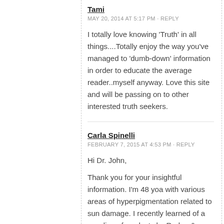Tami
MAY 20, 2014 AT 5:17 PM · REPLY
I totally love knowing ‘Truth’ in all things....Totally enjoy the way you’ve managed to ‘dumb-down’ information in order to educate the average reader..myself anyway. Love this site and will be passing on to other interested truth seekers.
Carla Spinelli
FEBRUARY 7, 2015 AT 4:53 PM · REPLY
Hi Dr. John,
Thank you for your insightful information. I’m 48 yoa with various areas of hyperpigmentation related to sun damage. I recently learned of a new line of products by Rodan & Fields. Their products line are being